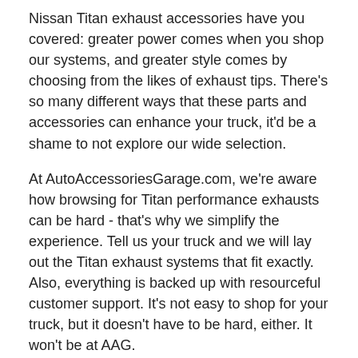Nissan Titan exhaust accessories have you covered: greater power comes when you shop our systems, and greater style comes by choosing from the likes of exhaust tips. There's so many different ways that these parts and accessories can enhance your truck, it'd be a shame to not explore our wide selection.
At AutoAccessoriesGarage.com, we're aware how browsing for Titan performance exhausts can be hard - that's why we simplify the experience. Tell us your truck and we will lay out the Titan exhaust systems that fit exactly. Also, everything is backed up with resourceful customer support. It's not easy to shop for your truck, but it doesn't have to be hard, either. It won't be at AAG.
More Popular Titan Accessories: Nissan Titan Floor Mats & Liners, Nissan Titan Headers, Nissan Titan Catalytic Converters, Nissan Titan Grilles & Nissan Titan Gauges.